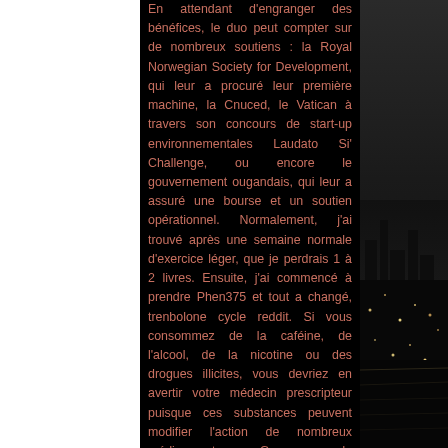En attendant d'engranger des bénéfices, le duo peut compter sur de nombreux soutiens : la Royal Norwegian Society for Development, qui leur a procuré leur première machine, la Cnuced, le Vatican à travers son concours de start-up environnementales Laudato Si' Challenge, ou encore le gouvernement ougandais, qui leur a assuré une bourse et un soutien opérationnel. Normalement, j'ai trouvé après une semaine normale d'exercice léger, que je perdrais 1 à 2 livres. Ensuite, j'ai commencé à prendre Phen375 et tout a changé, trenbolone cycle reddit. Si vous consommez de la caf&eacute;ine, de l'alcool, de la nicotine ou des drogues illicites, vous devriez en avertir votre m&eacute;decin prescripteur puisque ces substances peuvent modifier l'action de nombreux m&eacute;dicaments. Gamme de médicament ANDROTARDYL, trenbolone cycle before and after. Beaucoup de gens
[Figure (photo): Black and white nighttime cityscape photo on the right side of the page showing city lights and buildings]